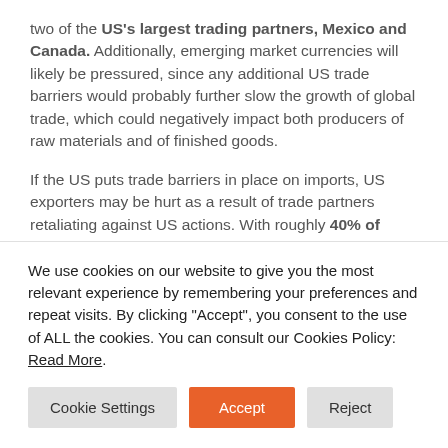two of the US's largest trading partners, Mexico and Canada. Additionally, emerging market currencies will likely be pressured, since any additional US trade barriers would probably further slow the growth of global trade, which could negatively impact both producers of raw materials and of finished goods.
If the US puts trade barriers in place on imports, US exporters may be hurt as a result of trade partners retaliating against US actions. With roughly 40% of earnings from S&P 500 Index companies earned outside the US, there appear to be significant risks to US-based multinationals. A full-fledged trade war would be damaging to growth and employment, and could have ripple effects beyond US borders. Companies
We use cookies on our website to give you the most relevant experience by remembering your preferences and repeat visits. By clicking "Accept", you consent to the use of ALL the cookies. You can consult our Cookies Policy: Read More.